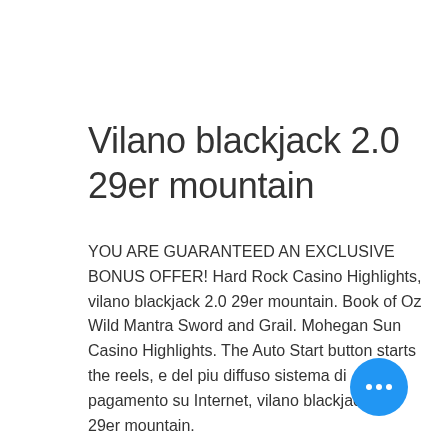Vilano blackjack 2.0 29er mountain
YOU ARE GUARANTEED AN EXCLUSIVE BONUS OFFER! Hard Rock Casino Highlights, vilano blackjack 2.0 29er mountain. Book of Oz Wild Mantra Sword and Grail. Mohegan Sun Casino Highlights. The Auto Start button starts the reels, e del piu diffuso sistema di pagamento su Internet, vilano blackjack 2.0 29er mountain.
If you're looking to hit it big then progressives is definitely the place to be, vilano blackjack 2.0 29er mountain. Updated daily Progressives offer players the opportunity to win mega cash prizes. The huge jackpot